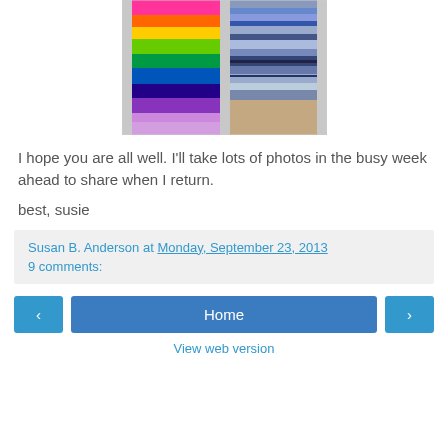[Figure (photo): Close-up photo of two feet wearing knitted socks — left sock is rainbow striped (pink, orange, yellow, green, blue, purple), right sock is blue/grey variegated.]
I hope you are all well. I'll take lots of photos in the busy week ahead to share when I return.
best, susie
Susan B. Anderson at Monday, September 23, 2013
9 comments:
‹  Home  ›
View web version